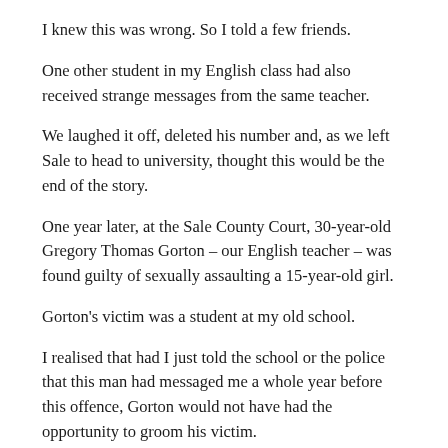I knew this was wrong. So I told a few friends.
One other student in my English class had also received strange messages from the same teacher.
We laughed it off, deleted his number and, as we left Sale to head to university, thought this would be the end of the story.
One year later, at the Sale County Court, 30-year-old Gregory Thomas Gorton – our English teacher – was found guilty of sexually assaulting a 15-year-old girl.
Gorton's victim was a student at my old school.
I realised that had I just told the school or the police that this man had messaged me a whole year before this offence, Gorton would not have had the opportunity to groom his victim.
A mutual friend told me about what happened.
Gorton had frequently messaged Angela*, complimenting her appearance. He eventually asked her to come for a drink at a